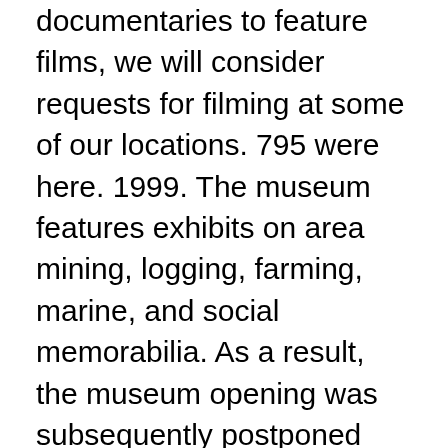documentaries to feature films, we will consider requests for filming at some of our locations. 795 were here. 1999. The museum features exhibits on area mining, logging, farming, marine, and social memorabilia. As a result, the museum opening was subsequently postponed from 2001 to 2003. What a joy to meet Bob and be exci... Read all 45 reviews. The Museum will be closed to the public for our winter hiatus. « Cette outil de création de logo est d'une grande qualité. While planning a few days in NY I came across the National Lighthouse Museum Located on Staten Island. Information on The Lighthouse, Glasgow. The North Point Lighthouse Museum is a lighthouse built in 1888 in Lake Park on the East Side of Milwaukee in Milwaukee County, Wisconsin, United States to mark the entrance to the Milwaukee River.The lighthouse was added to the National Register of Historic Places in 1984. The Museum of Scottish Lighthouses is based in the bustling fishing port of Fraserburgh on the North East corner of Aberdeenshire. THE NATIONAL LIGHTHOUSE MUSEUM WE ARE CURRENTLY OPEN WITH COVID HOURS